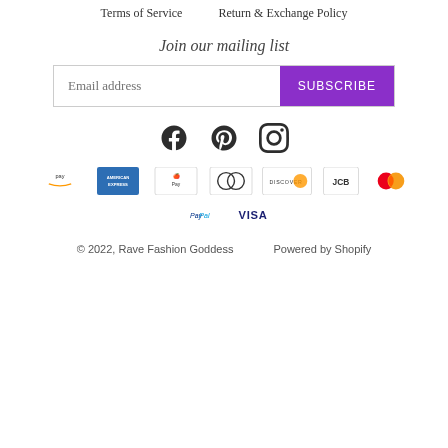Terms of Service    Return & Exchange Policy
Join our mailing list
Email address  SUBSCRIBE
[Figure (illustration): Social media icons: Facebook, Pinterest, Instagram]
[Figure (illustration): Payment method icons: Amazon Pay, American Express, Apple Pay, Diners Club, Discover, JCB, Mastercard, PayPal, Visa]
© 2022, Rave Fashion Goddess    Powered by Shopify